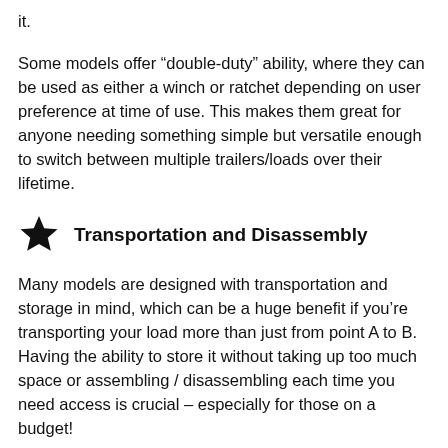it.
Some models offer “double-duty” ability, where they can be used as either a winch or ratchet depending on user preference at time of use. This makes them great for anyone needing something simple but versatile enough to switch between multiple trailers/loads over their lifetime.
Transportation and Disassembly
Many models are designed with transportation and storage in mind, which can be a huge benefit if you’re transporting your load more than just from point A to B. Having the ability to store it without taking up too much space or assembling / disassembling each time you need access is crucial – especially for those on a budget!